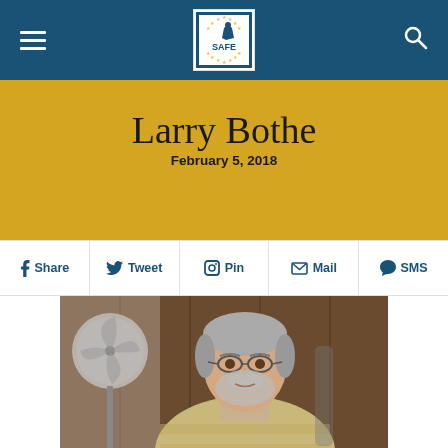SAFE — navigation bar with hamburger menu, SAFE logo, and search icon
Larry Bothe
February 5, 2018
Share  Tweet  Pin  Mail  SMS
[Figure (photo): Portrait photograph of Larry Bothe, an older man with grey hair and beard wearing glasses and a beige striped sweater, seated at a desk with a fan visible in the background in a wood-paneled room.]